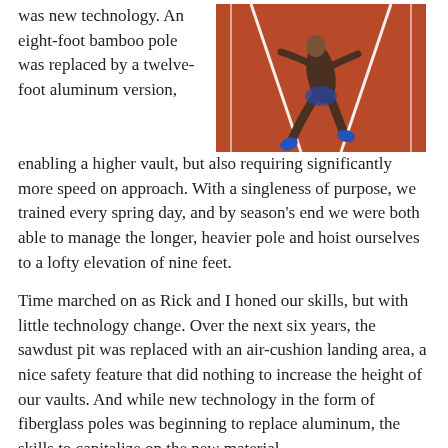was new technology.  An eight-foot bamboo pole was replaced by a twelve-foot aluminum version, enabling a higher vault, but also requiring significantly more speed on approach.  With a singleness of purpose, we trained every spring day, and by season's end we were both able to manage the longer, heavier pole and hoist ourselves to a lofty elevation of nine feet.
[Figure (photo): Aerial/overhead view of a pole vaulter on a red track, seen from above, mid-stride approaching the vault. The athlete wears blue shoes and shorts.]
Time marched on as Rick and I honed our skills, but with little technology change. Over the next six years, the sawdust pit was replaced with an air-cushion landing area, a nice safety feature that did nothing to increase the height of our vaults.  And while new technology in the form of fiberglass poles was beginning to replace aluminum, the skills to capitalize on the new material